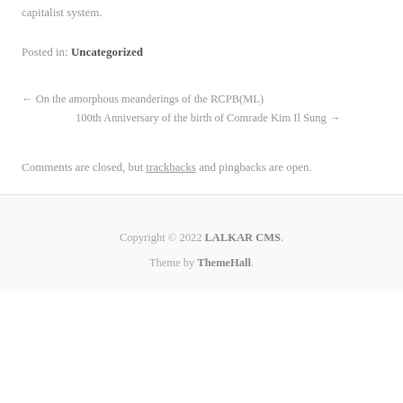capitalist system.
Posted in: Uncategorized
← On the amorphous meanderings of the RCPB(ML)
100th Anniversary of the birth of Comrade Kim Il Sung →
Comments are closed, but trackbacks and pingbacks are open.
Copyright © 2022 LALKAR CMS.
Theme by ThemeHall.